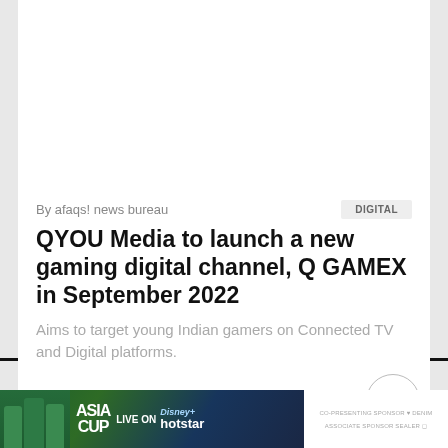By afaqs! news bureau
DIGITAL
QYOU Media to launch a new gaming digital channel, Q GAMEX in September 2022
Aims to target young Indian gamers on Connected TV and Digital platforms.
[Figure (screenshot): Lower section of a news website with a scroll-to-top button (circle with upward chevron) and an advertisement banner for Asia Cup Live on Disney+ Hotstar at the bottom]
ASIA CUP | LIVE ON Disney+ hotstar | CO-PRESENTING SPONSOR: DENIM | ASSOCIATE SPONSOR: SEALER